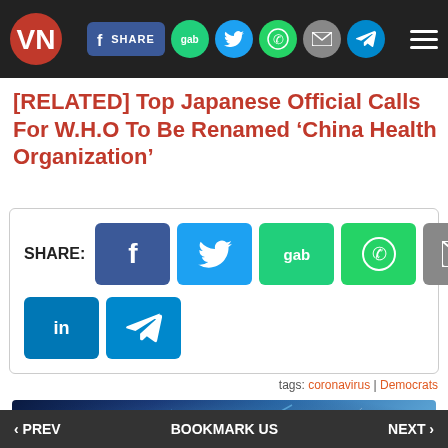VN [logo] | SHARE | gab | twitter | whatsapp | email | telegram | menu
[RELATED] Top Japanese Official Calls For W.H.O To Be Renamed ‘China Health Organization’
SHARE: [Facebook] [Twitter] [gab] [WhatsApp] [Email] [LinkedIn] [Telegram]
tags: coronavirus | Democrats
[Figure (advertisement): Steve Quayle .com advertisement banner with blue lightning background]
‹ PREV   BOOKMARK US   NEXT ›